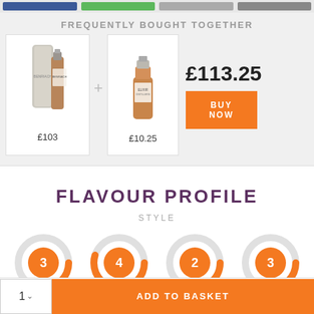FREQUENTLY BOUGHT TOGETHER
[Figure (photo): Product 1: Benriach whisky bottle with tube packaging, priced £103]
[Figure (photo): Product 2: Small whisky miniature bottle, priced £10.25]
£113.25
BUY NOW
£103
£10.25
FLAVOUR PROFILE
STYLE
[Figure (infographic): Four donut/ring charts showing flavour profile scores: 3, 4, 2, 3]
ADD TO BASKET
1